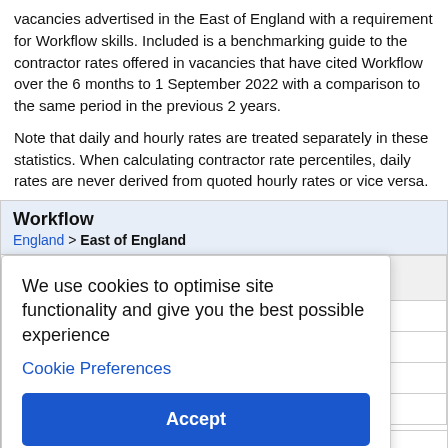vacancies advertised in the East of England with a requirement for Workflow skills. Included is a benchmarking guide to the contractor rates offered in vacancies that have cited Workflow over the 6 months to 1 September 2022 with a comparison to the same period in the previous 2 years.
Note that daily and hourly rates are treated separately in these statistics. When calculating contractor rate percentiles, daily rates are never derived from quoted hourly rates or vice versa.
Workflow
England > East of England
| Same period 2020 |
| --- |
| 86 |
| ▲ +34 |
| 13 |
| 0.98% |
We use cookies to optimise site functionality and give you the best possible experience
Cookie Preferences
Accept
England